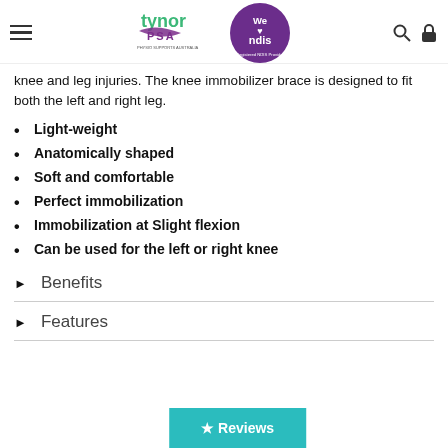tynor PSA | We love ndis - Registered NDIS Provider
knee and leg injuries. The knee immobilizer brace is designed to fit both the left and right leg.
Light-weight
Anatomically shaped
Soft and comfortable
Perfect immobilization
Immobilization at Slight flexion
Can be used for the left or right knee
Benefits
Features